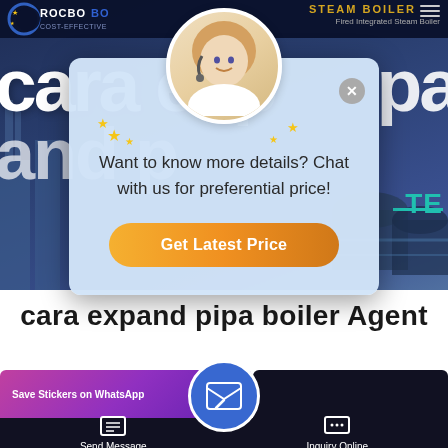[Figure (screenshot): Website screenshot of ROCBO BOILER with dark blue industrial background showing large white text 'cara expand pipa' partially visible behind a chat popup overlay]
[Figure (infographic): Chat popup with female support agent avatar, stars decoration, text 'Want to know more details? Chat with us for preferential price!' and orange 'Get Latest Price' button]
cara expand pipa boiler Agent
[Figure (screenshot): Website bottom bar with WhatsApp sticker banner on left, blue email circle button center, dark right panel, and bottom navigation with Send Message and Inquiry Online buttons]